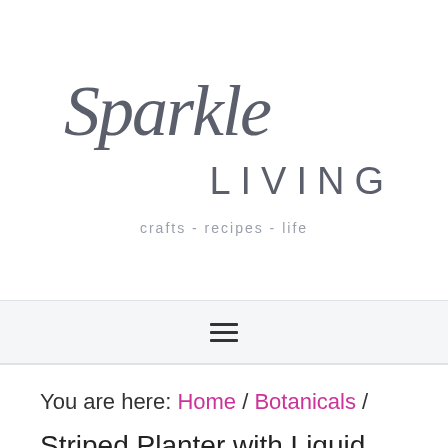[Figure (logo): Sparkle Living logo with script 'Sparkle' text and sans-serif 'LIVING' with tagline 'crafts - recipes - life']
≡
You are here: Home / Botanicals /
Striped Planter with Liquid Gold Leaf